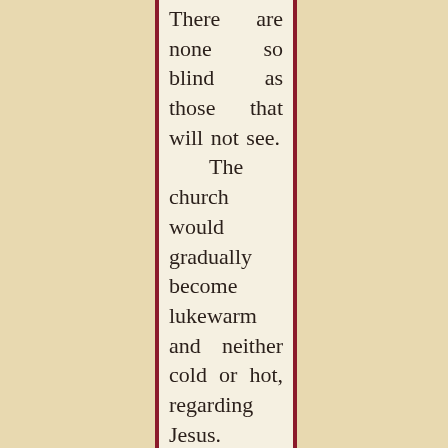There are none so blind as those that will not see. The church would gradually become lukewarm and neither cold or hot, regarding Jesus. God told us that diseases